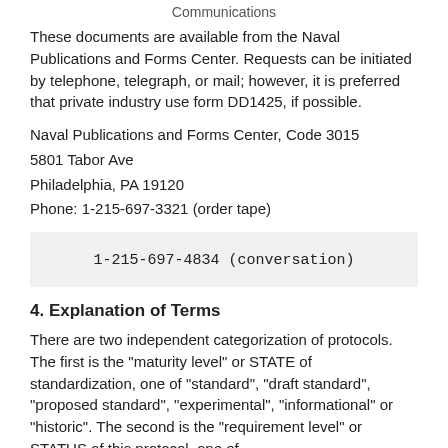Communications
These documents are available from the Naval Publications and Forms Center. Requests can be initiated by telephone, telegraph, or mail; however, it is preferred that private industry use form DD1425, if possible.
Naval Publications and Forms Center, Code 3015
5801 Tabor Ave
Philadelphia, PA 19120
Phone: 1-215-697-3321 (order tape)
1-215-697-4834 (conversation)
4. Explanation of Terms
There are two independent categorization of protocols. The first is the "maturity level" or STATE of standardization, one of "standard", "draft standard", "proposed standard", "experimental", "informational" or "historic". The second is the "requirement level" or STATUS of this protocol, one of